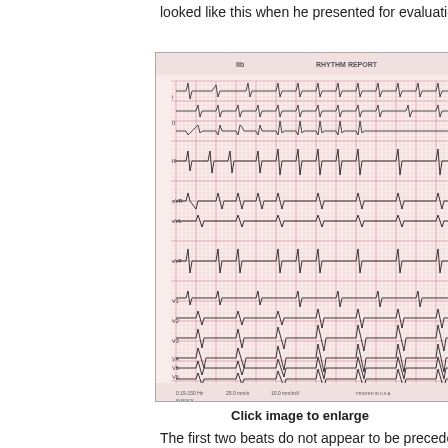looked like this when he presented for evaluation of two near sy
[Figure (other): 12-lead ECG rhythm report showing multiple leads (IIb, I, II, III, aVR, aVL, aVF, V1, V2, V3, V4, V5, V6) on pink graph paper background with cardiac waveforms. Footer shows: 0.15-150 Hz, 25.0 mm/s, 10.0 mm/mV. Header reads RHYTHM REPORT.]
Click image to enlarge
The first two beats do not appear to be preceded by a P wave b